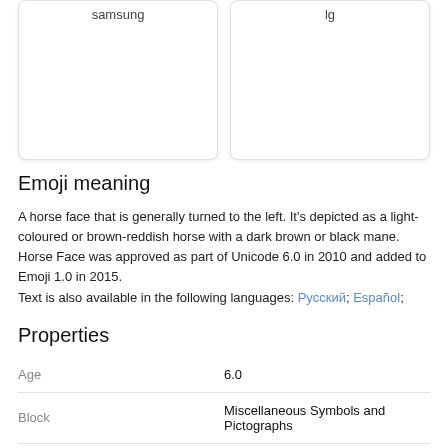[Figure (other): Two cards side by side. Left card labeled 'samsung', right card labeled 'lg'. White rounded rectangle cards with light shadow.]
Emoji meaning
A horse face that is generally turned to the left. It's depicted as a light-coloured or brown-reddish horse with a dark brown or black mane. Horse Face was approved as part of Unicode 6.0 in 2010 and added to Emoji 1.0 in 2015.
Text is also available in the following languages: Русский; Español;
Properties
| Property | Value |
| --- | --- |
| Age | 6.0 |
| Block | Miscellaneous Symbols and Pictographs |
| Bidi Paired Bracket Type | None |
| Composition Exclusion | No |